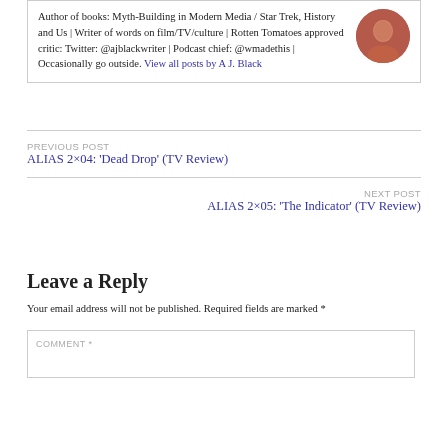Author of books: Myth-Building in Modern Media / Star Trek, History and Us | Writer of words on film/TV/culture | Rotten Tomatoes approved critic: Twitter: @ajblackwriter | Podcast chief: @wmadethis | Occasionally go outside. View all posts by A J. Black
PREVIOUS POST
ALIAS 2×04: 'Dead Drop' (TV Review)
NEXT POST
ALIAS 2×05: 'The Indicator' (TV Review)
Leave a Reply
Your email address will not be published. Required fields are marked *
COMMENT *